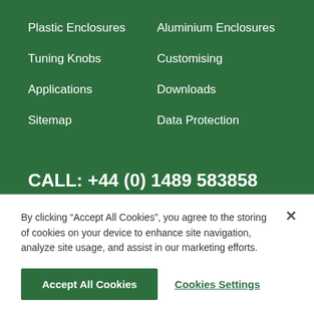Plastic Enclosures
Aluminium Enclosures
Tuning Knobs
Customising
Applications
Downloads
Sitemap
Data Protection
CALL: +44 (0) 1489 583858
About OKW
Contact Us
News
SAMPLES & QUOTES
By clicking “Accept All Cookies”, you agree to the storing of cookies on your device to enhance site navigation, analyze site usage, and assist in our marketing efforts.
Accept All Cookies
Cookies Settings